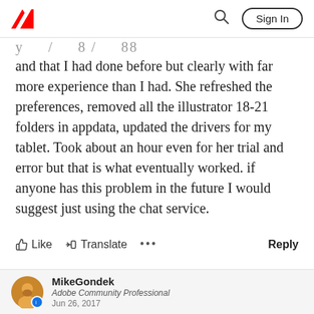Adobe community page header with logo, search, and Sign In button
and that I had done before but clearly with far more experience than I had. She refreshed the preferences, removed all the illustrator 18-21 folders in appdata, updated the drivers for my tablet. Took about an hour even for her trial and error but that is what eventually worked. if anyone has this problem in the future I would suggest just using the chat service.
Like  Translate  ...  Reply
MikeGondek
Adobe Community Professional
Jun 26, 2017